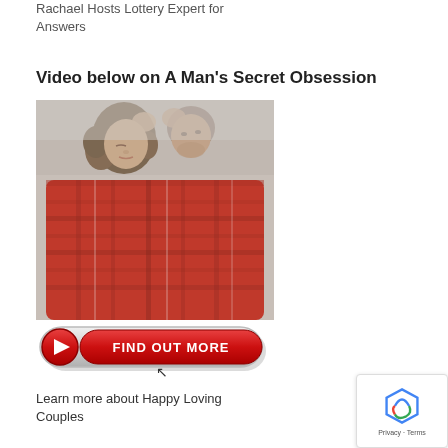Rachael Hosts Lottery Expert for Answers
Video below on A Man's Secret Obsession
[Figure (photo): A couple wrapped together in a red plaid blanket, foreheads touching intimately, outdoors with blurred background.]
[Figure (illustration): Red video play button with text FIND OUT MORE and a cursor pointer below it.]
Learn more about Happy Loving Couples